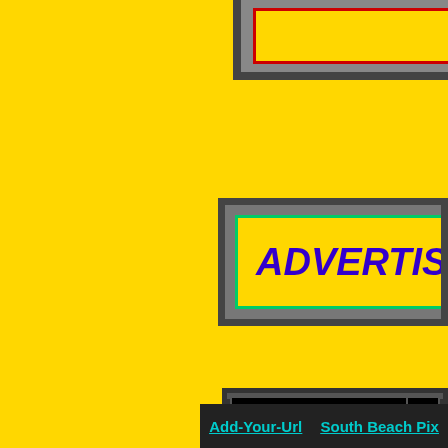[Figure (other): Partial decorative frame in top-right corner with dark border and yellow/red inner border, cropped at page edge]
[Figure (other): Gray-bordered banner frame containing 'ADVERTISE' text in bold italic dark blue on yellow background with green inner border]
| Announce and Promote
Your Website! |  |
| Jimmy Rocker
Free For All Links |  |
| Yankee
FFA |  |
Add-Your-Url    South Beach Pix